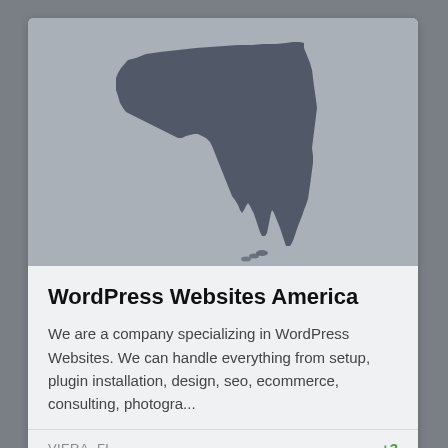[Figure (map): Silhouette map of the state of Florida on a grey background]
WordPress Websites America
We are a company specializing in WordPress Websites. We can handle everything from setup, plugin installation, design, seo, ecommerce, consulting, photogra...
VIERA, FL
+3